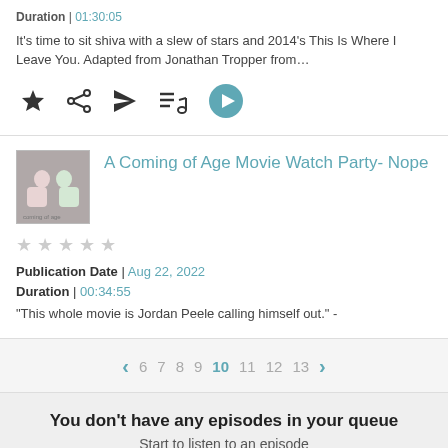Duration | 01:30:05
It's time to sit shiva with a slew of stars and 2014's This Is Where I Leave You. Adapted from Jonathan Tropper from…
[Figure (screenshot): Row of podcast action icons: star, share, send, music-list, play button]
[Figure (screenshot): Thumbnail image for A Coming of Age Movie Watch Party podcast]
A Coming of Age Movie Watch Party- Nope
★★★★★ (empty stars rating)
Publication Date | Aug 22, 2022
Duration | 00:34:55
“This whole movie is Jordan Peele calling himself out.” -
< 6 7 8 9 10 11 12 13 >
You don't have any episodes in your queue
Start to listen to an episode